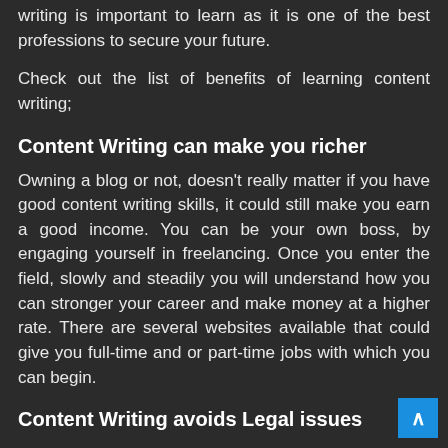writing is important to learn as it is one of the best professions to secure your future.
Check out the list of benefits of learning content writing;
Content Writing can make you richer
Owning a blog or not, doesn't really matter if you have good content writing skills, it could still make you earn a good income. You can be your own boss, by engaging yourself in freelancing. Once you enter the field, slowly and steadily you will understand how you can stronger your career and make money at a higher rate. There are several websites available that could give you full-time and or part-time jobs with which you can begin.
Content Writing avoids Legal issues